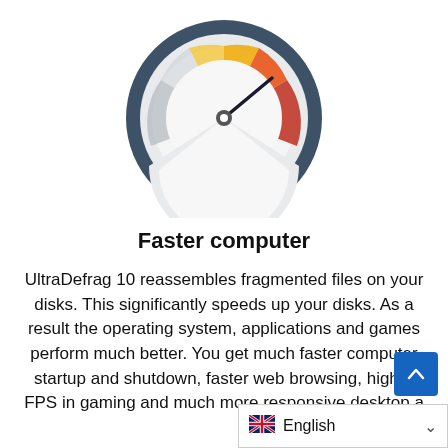[Figure (illustration): A speedometer/gauge icon with dark blue outer ring, grey and white face, colored arc segments (grey on left, yellow in middle, red/orange on right), and a black needle pointing toward the red zone.]
Faster computer
UltraDefrag 10 reassembles fragmented files on your disks. This significantly speeds up your disks. As a result the operating system, applications and games perform much better. You get much faster computer startup and shutdown, faster web browsing, higher FPS in gaming and much more responsive desktop a